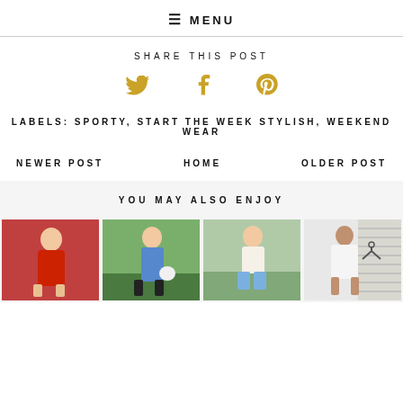≡ MENU
SHARE THIS POST
[Figure (infographic): Three social media icons: Twitter bird, Facebook f, Pinterest P — all in gold/tan color]
LABELS: SPORTY, START THE WEEK STYLISH, WEEKEND WEAR
NEWER POST    HOME    OLDER POST
YOU MAY ALSO ENJOY
[Figure (photo): Four thumbnail fashion photos: woman in red sweater outdoors; woman in denim jacket with white bag in garden; woman in floral top and denim shorts outdoors; woman in white v-neck t-shirt indoors]
[Figure (photo): Woman in red v-neck sweater outdoors]
[Figure (photo): Woman in denim jacket and black pants in garden]
[Figure (photo): Woman in floral top and denim shorts outdoors]
[Figure (photo): Woman in white v-neck t-shirt indoors with clothing hanger]